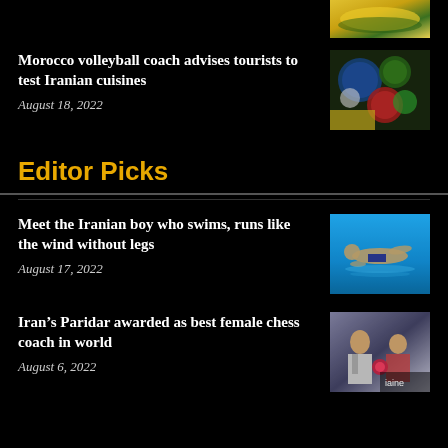[Figure (photo): Top partial image of food dish with yellow rice on dark background]
Morocco volleyball coach advises tourists to test Iranian cuisines
August 18, 2022
[Figure (photo): Overhead view of colorful Iranian food bowls with spices and vegetables]
Editor Picks
Meet the Iranian boy who swims, runs like the wind without legs
August 17, 2022
[Figure (photo): Child swimming in blue pool water without legs]
Iran’s Paridar awarded as best female chess coach in world
August 6, 2022
[Figure (photo): Award ceremony with man in suit presenting flowers to woman]